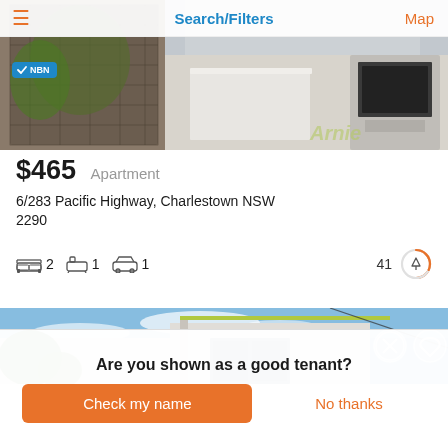Search/Filters  Map
[Figure (photo): Apartment listing photo showing kitchen and entrance area with NBN badge overlay]
$465  Apartment
6/283 Pacific Highway, Charlestown NSW 2290
2  1  1   41
[Figure (photo): Second apartment listing photo showing exterior roofline and blue sky]
Are you shown as a good tenant?
Check my name
No thanks